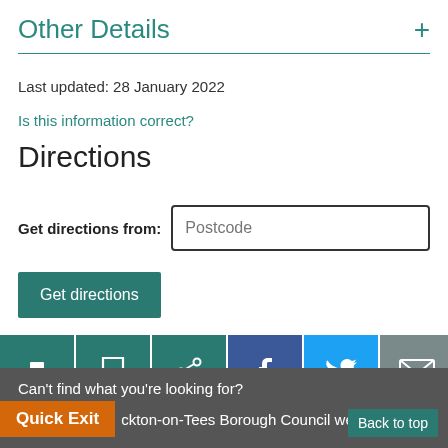Other Details
Last updated: 28 January 2022
Is this information correct?
Directions
Get directions from: Postcode
Get directions
[Figure (screenshot): Social sharing bar with icons for print, bookmark, share, Facebook, Twitter, email, and SMS]
Can't find what you're looking for? Quick Exit ckton-on-Tees Borough Council website Back to top